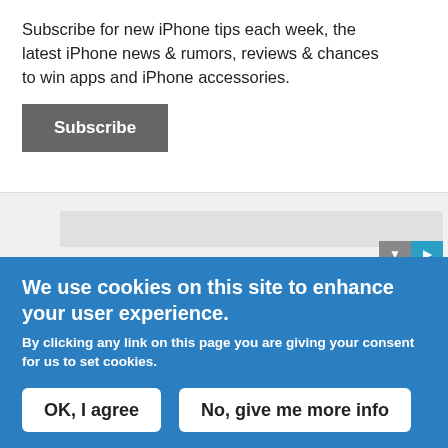Subscribe for new iPhone tips each week, the latest iPhone news & rumors, reviews & chances to win apps and iPhone accessories.
Subscribe
[Figure (screenshot): Advertisement area with gray bar and playback controls (down arrow and play button in teal)]
blobs can downgrade with the assistance of geohot's limera1n exploit. There is also a
We use cookies on this site to enhance your user experience.
By clicking any link on this page you are giving your consent for us to set cookies.
OK, I agree
No, give me more info